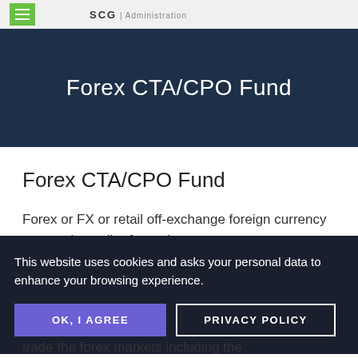SCG Administration
Forex CTA/CPO Fund
Forex CTA/CPO Fund
Forex or FX or retail off-exchange foreign currency transactions all refer to the same
This website uses cookies and asks your personal data to enhance your browsing experience.
OK, I AGREE
PRIVACY POLICY
trade the forex markets including the